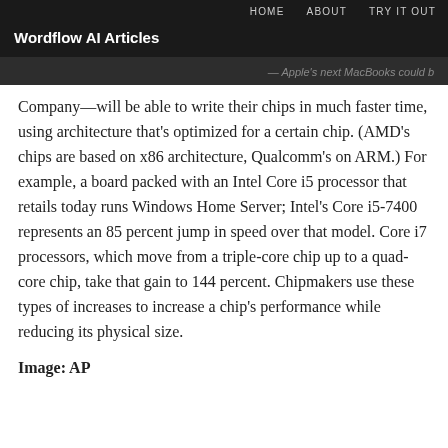HOME   ABOUT   TRY IT OUT
Wordflow AI Articles
— Apple's next MacBooks could b
Company—will be able to write their chips in much faster time, using architecture that's optimized for a certain chip. (AMD's chips are based on x86 architecture, Qualcomm's on ARM.) For example, a board packed with an Intel Core i5 processor that retails today runs Windows Home Server; Intel's Core i5-7400 represents an 85 percent jump in speed over that model. Core i7 processors, which move from a triple-core chip up to a quad-core chip, take that gain to 144 percent. Chipmakers use these types of increases to increase a chip's performance while reducing its physical size.
Image: AP